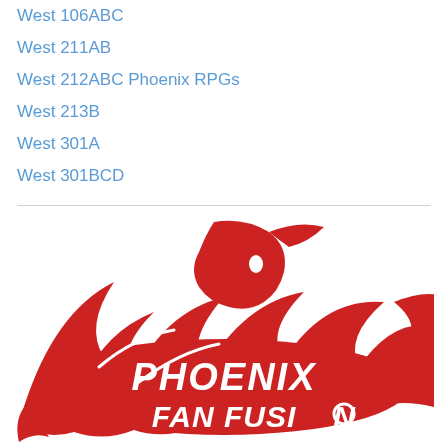West 106ABC
West 211AB
West 212ABC Phoenix RPGs
West 213B
West 301A
West 301BCD
[Figure (logo): Phoenix Fan Fusion logo — a red phoenix bird with wings spread wide, text 'PHOENIX FAN FUSION' in white bold italic letters on the red body of the bird]